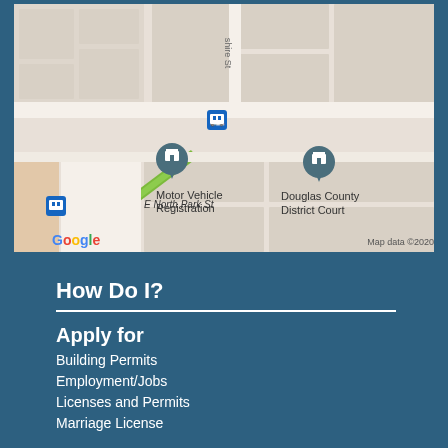[Figure (map): Google Maps screenshot showing Motor Vehicle Registration and Douglas County District Court locations near E North Park St, with bus stop markers and Google branding. Map data ©2020.]
How Do I?
Apply for
Building Permits
Employment/Jobs
Licenses and Permits
Marriage License